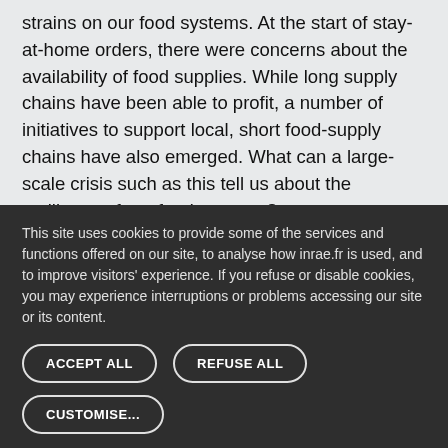caused a public health crisis that is putting serious strains on our food systems. At the start of stay-at-home orders, there were concerns about the availability of food supplies. While long supply chains have been able to profit, a number of initiatives to support local, short food-supply chains have also emerged. What can a large-scale crisis such as this tell us about the resilience of our food systems?
This site uses cookies to provide some of the services and functions offered on our site, to analyse how inrae.fr is used, and to improve visitors' experience. If you refuse or disable cookies, you may experience interruptions or problems accessing our site or its content.
ACCEPT ALL
REFUSE ALL
CUSTOMISE...